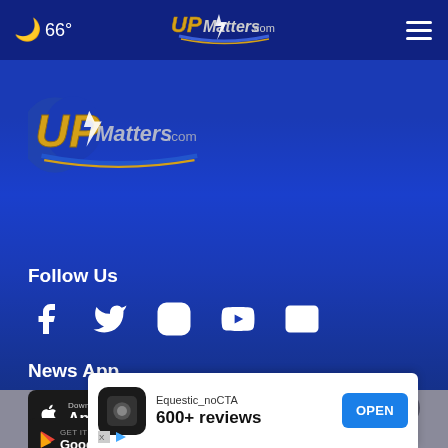[Figure (screenshot): UPMatters.com website screenshot showing navigation bar with weather icon, 66° temperature, site logo, and hamburger menu]
66°
[Figure (logo): UPMatters.com logo centered in page]
Follow Us
[Figure (infographic): Social media icons: Facebook, Twitter, Instagram, YouTube, Email]
News App
[Figure (screenshot): Download on the App Store button]
[Figure (screenshot): Google Play store button (partial)]
[Figure (infographic): Advertisement banner: Equestic_noCTA, 600+ reviews, OPEN button]